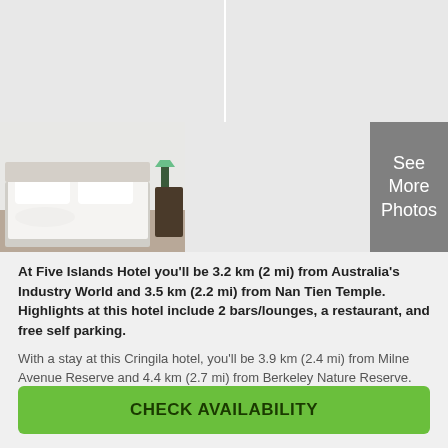[Figure (photo): Hotel photo grid: top row shows two light grey placeholder image panels side by side; bottom row shows a hotel bedroom photo on the left (white bed, white pillows, nightstand with lamp), a grey placeholder panel in the middle, and a dark grey 'See More Photos' button on the right.]
At Five Islands Hotel you'll be 3.2 km (2 mi) from Australia's Industry World and 3.5 km (2.2 mi) from Nan Tien Temple. Highlights at this hotel include 2 bars/lounges, a restaurant, and free self parking.
With a stay at this Cringila hotel, you'll be 3.9 km (2.4 mi) from Milne Avenue Reserve and 4.4 km (2.7 mi) from Berkeley Nature Reserve.
Read more
CHECK AVAILABILITY